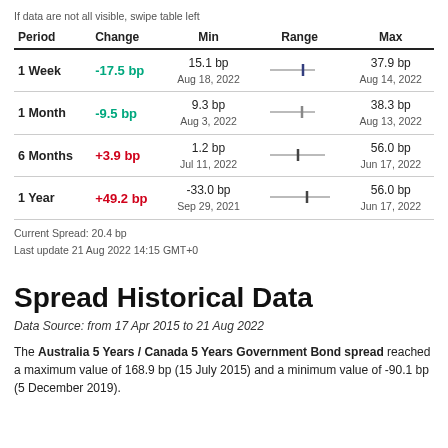If data are not all visible, swipe table left
| Period | Change | Min | Range | Max |
| --- | --- | --- | --- | --- |
| 1 Week | -17.5 bp | 15.1 bp
Aug 18, 2022 |  | 37.9 bp
Aug 14, 2022 |
| 1 Month | -9.5 bp | 9.3 bp
Aug 3, 2022 |  | 38.3 bp
Aug 13, 2022 |
| 6 Months | +3.9 bp | 1.2 bp
Jul 11, 2022 |  | 56.0 bp
Jun 17, 2022 |
| 1 Year | +49.2 bp | -33.0 bp
Sep 29, 2021 |  | 56.0 bp
Jun 17, 2022 |
Current Spread: 20.4 bp
Last update 21 Aug 2022 14:15 GMT+0
Spread Historical Data
Data Source: from 17 Apr 2015 to 21 Aug 2022
The Australia 5 Years / Canada 5 Years Government Bond spread reached a maximum value of 168.9 bp (15 July 2015) and a minimum value of -90.1 bp (5 December 2019).